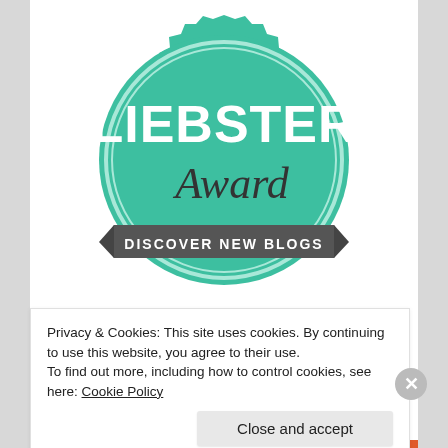[Figure (logo): Liebster Award badge — a teal/mint green scalloped circle seal with the text 'LIEBSTER' in large white bold capitals, 'Award' in dark cursive script, and a dark gray ribbon banner reading 'DISCOVER NEW BLOGS' in small capitals.]
Privacy & Cookies: This site uses cookies. By continuing to use this website, you agree to their use.
To find out more, including how to control cookies, see here: Cookie Policy
Close and accept